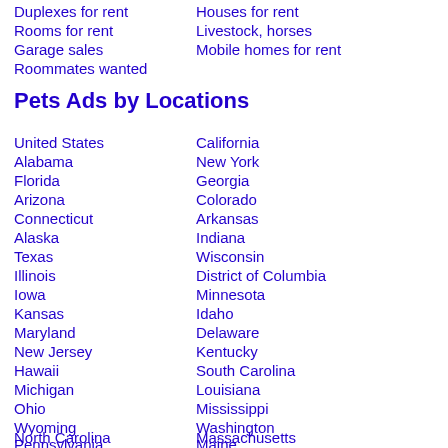Duplexes for rent
Houses for rent
Rooms for rent
Livestock, horses
Garage sales
Mobile homes for rent
Roommates wanted
Pets Ads by Locations
United States
California
Alabama
New York
Florida
Georgia
Arizona
Colorado
Connecticut
Arkansas
Alaska
Indiana
Texas
Wisconsin
Illinois
District of Columbia
Iowa
Minnesota
Kansas
Idaho
Maryland
Delaware
New Jersey
Kentucky
Hawaii
South Carolina
Michigan
Louisiana
Ohio
Mississippi
Wyoming
Washington
North Carolina
Massachusetts
Pennsylvania
Maine
Tennessee
Oregon
Nebraska
New Hampshire